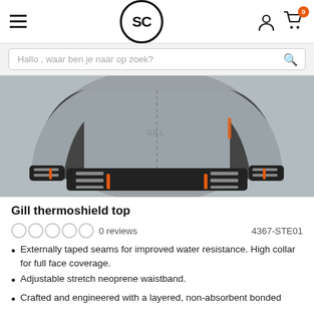SC (logo) — hamburger menu, user icon, cart (0)
Hallo , waar ben je naar op zoek?
[Figure (photo): Back view of a grey Gill thermoshield top with black waistband, black shoulder panels, and orange accent details on cuffs and waistband.]
Gill thermoshield top
0 reviews   4367-STE01
Externally taped seams for improved water resistance. High collar for full face coverage.
Adjustable stretch neoprene waistband.
Crafted and engineered with a layered, non-absorbent bonded